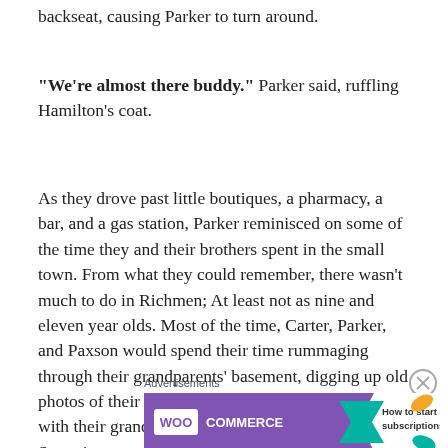backseat, causing Parker to turn around.
“We’re almost there buddy.” Parker said, ruffling Hamilton’s coat.
As they drove past little boutiques, a pharmacy, a bar, and a gas station, Parker reminisced on some of the time they and their brothers spent in the small town. From what they could remember, there wasn’t much to do in Richmen; At least not as nine and eleven year olds. Most of the time, Carter, Parker, and Paxson would spend their time rummaging through their grandparents’ basement, digging up old photos of their mother as well as playing dress up with their grandfather’s old police uniforms. Sometime
(partial line cut off)
Advertisements
[Figure (other): WooCommerce advertisement banner: purple background with WooCommerce logo and arrow shape, text reading 'How to start selling subscriptions online', decorative orange and blue leaf shapes on right side]